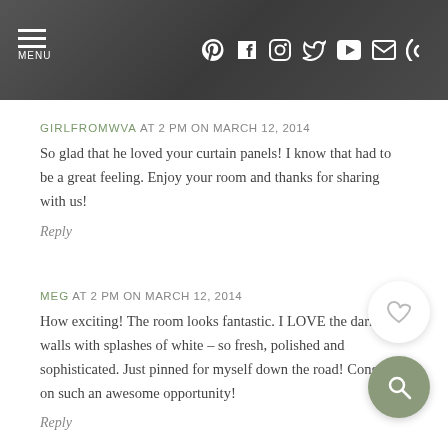MENU | Social icons: Pinterest, Facebook, Instagram, Twitter, YouTube, Email, RSS
GIRLFROMWVA AT 2 PM ON MARCH 12, 2014
So glad that he loved your curtain panels! I know that had to be a great feeling. Enjoy your room and thanks for sharing with us!
Reply
MEG AT 2 PM ON MARCH 12, 2014
How exciting! The room looks fantastic. I LOVE the dark gray walls with splashes of white – so fresh, polished and sophisticated. Just pinned for myself down the road! Congrats on such an awesome opportunity!
Reply